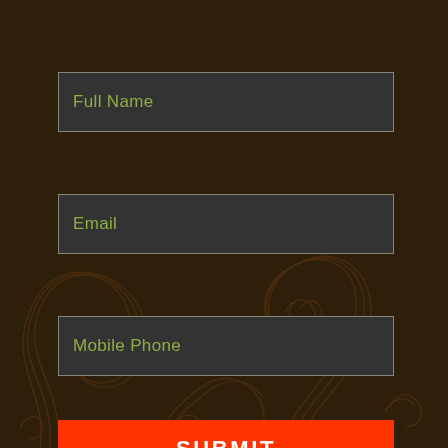Full Name
Email
Mobile Phone
SUBMIT